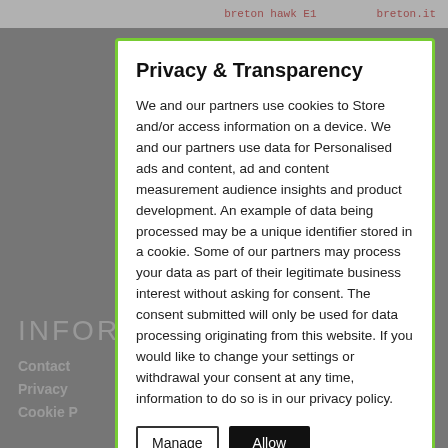breton hawk E1   breton.it
INFOR
Contact
Privacy
Cookie P
CATEG
News (6:
Features
Product
Videos (:
Privacy & Transparency
We and our partners use cookies to Store and/or access information on a device. We and our partners use data for Personalised ads and content, ad and content measurement audience insights and product development. An example of data being processed may be a unique identifier stored in a cookie. Some of our partners may process your data as part of their legitimate business interest without asking for consent. The consent submitted will only be used for data processing originating from this website. If you would like to change your settings or withdrawal your consent at any time, information to do so is in our privacy policy.
Manage   Allow